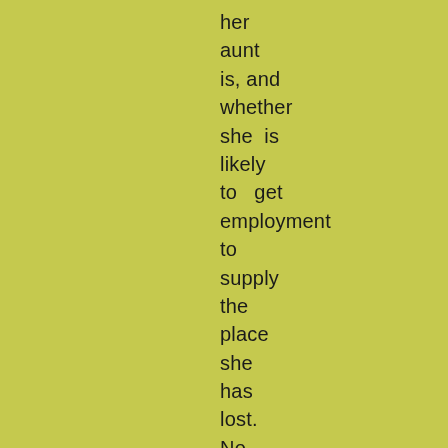her aunt is, and whether she is likely to get employment to supply the place she has lost. No doubt she will